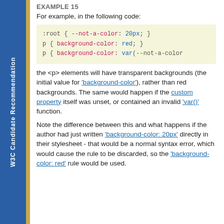W3C Candidate Recommendation
EXAMPLE 15
For example, in the following code:
:root { --not-a-color: 20px; }
p { background-color: red; }
p { background-color: var(--not-a-color
the <p> elements will have transparent backgrounds (the initial value for 'background-color'), rather than red backgrounds. The same would happen if the custom property itself was unset, or contained an invalid 'var()' function.
Note the difference between this and what happens if the author had just written 'background-color: 20px' directly in their stylesheet - that would be a normal syntax error, which would cause the rule to be discarded, so the 'background-color: red' rule would be used.